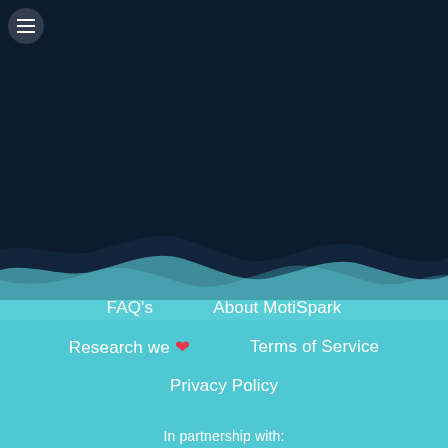=nartspark-inc-%2F%22%2C%22color%22%3A%22%231abc9c%22%7D%2C%7B%22type%22%3A%22instagram%22%2C%22url%22%3A%22https%3A%2F%2Fwww.instagram.com%2Fvamosmoti%2F%22%2C%22color%22%3A%22%231abc9c%22%7D%5D"][/vc_column][/vc_row]
[Figure (illustration): Wave divider graphic with dark navy top and teal blue bottom sections]
FAQ's
About MotiSpark
Research we ❤
Terms of Service
Privacy Policy
In partnership with: